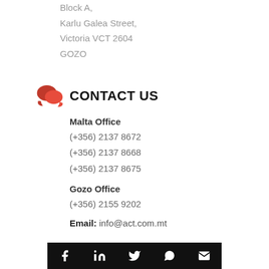Block A,
Karlu Galea Street,
Victoria VCT 2604
GOZO
CONTACT US
Malta Office
(+356) 2137 8672
(+356) 2137 8668
(+356) 2137 8675
Gozo Office
(+356) 2155 9202
Email: info@act.com.mt
[Figure (infographic): Social media icon bar with Facebook, LinkedIn, Twitter, WhatsApp, and Email icons on black background]